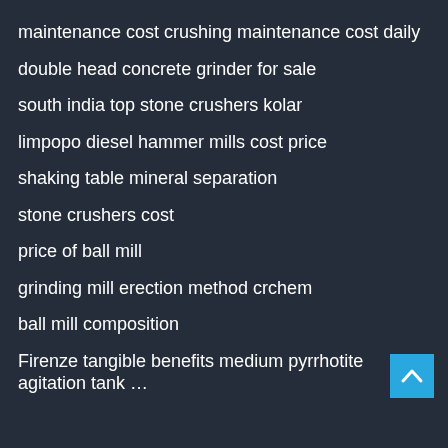maintenance cost crushing maintenance cost daily
double head concrete grinder for sale
south india top stone crushers kolar
limpopo diesel hammer mills cost price
shaking table mineral separation
stone crushers cost
price of ball mill
grinding mill erection method crchem
ball mill composition
Firenze tangible benefits medium pyrrhotite agitation tank …